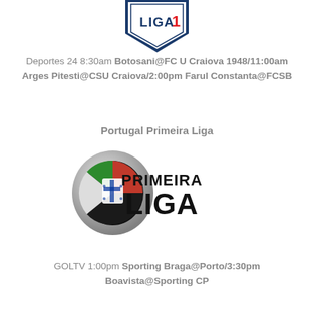[Figure (logo): Liga 1 shield logo with blue and red colors, text LIGA 1]
Deportes 24 8:30am Botosani@FC U Craiova 1948/11:00am Arges Pitesti@CSU Craiova/2:00pm Farul Constanta@FCSB
Portugal Primeira Liga
[Figure (logo): Primeira Liga logo with circular emblem and bold text PRIMEIRA LIGA]
GOLTV 1:00pm Sporting Braga@Porto/3:30pm Boavista@Sporting CP